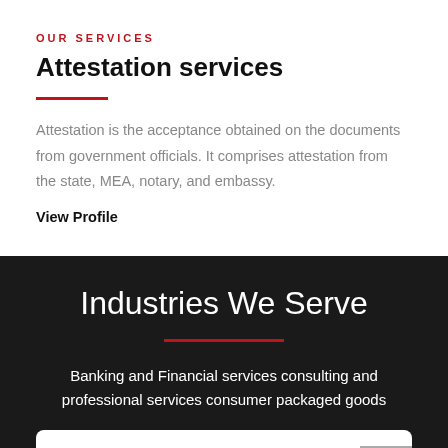OUR SERVICES
Attestation services
Attestation is the acceptance obtained on the documents from government officials. It comprises attestation from the state, MEA, notary, and embassy.
View Profile
Industries We Serve
Banking and Financial services consulting and professional services consumer packaged goods